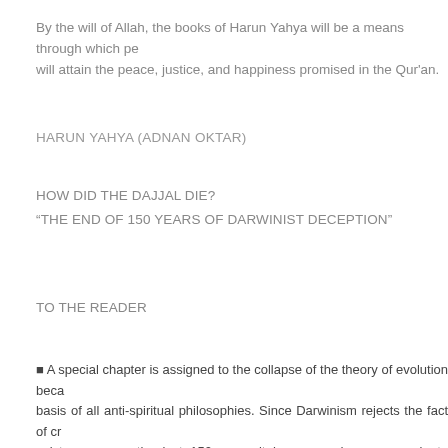By the will of Allah, the books of Harun Yahya will be a means through which people will attain the peace, justice, and happiness promised in the Qur'an.
HARUN YAHYA (ADNAN OKTAR)
HOW DID THE DAJJAL DIE?
“THE END OF 150 YEARS OF DARWINIST DECEPTION”
TO THE READER
■ A special chapter is assigned to the collapse of the theory of evolution because this theory forms the basis of all anti-spiritual philosophies. Since Darwinism rejects the fact of creation—and therefore, God’s existence—over the last 150 years it has caused many people to abandon their faith or fall into doubt. It is therefore an imperative service, a very important duty to show everyone that this theory is a deception. Since some readers may find the opportunity to read only one of our books, we think it a